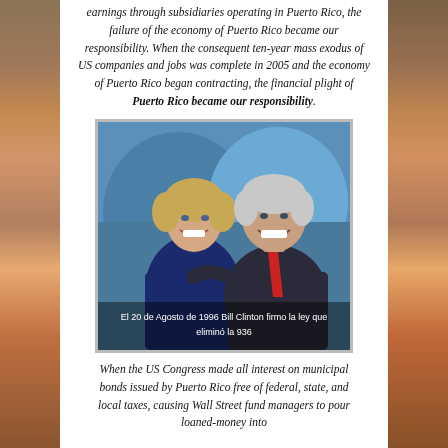earnings through subsidiaries operating in Puerto Rico, the failure of the economy of Puerto Rico became our responsibility. When the consequent ten-year mass exodus of US companies and jobs was complete in 2005 and the economy of Puerto Rico began contracting, the financial plight of Puerto Rico became our responsibility.
[Figure (photo): Photo of Hillary Clinton and Bill Clinton smiling together, with caption in Spanish: 'El 20 de Agosto de 1996 Bill Clinton firmo la ley que eliminó la 936']
When the US Congress made all interest on municipal bonds issued by Puerto Rico free of federal, state, and local taxes, causing Wall Street fund managers to pour loaned-money into